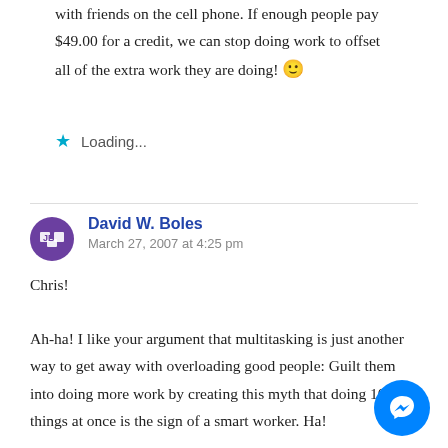with friends on the cell phone. If enough people pay $49.00 for a credit, we can stop doing work to offset all of the extra work they are doing! 🙂
Loading...
David W. Boles
March 27, 2007 at 4:25 pm

Chris!

Ah-ha! I like your argument that multitasking is just another way to get away with overloading good people: Guilt them into doing more work by creating this myth that doing 10 things at once is the sign of a smart worker. Ha!